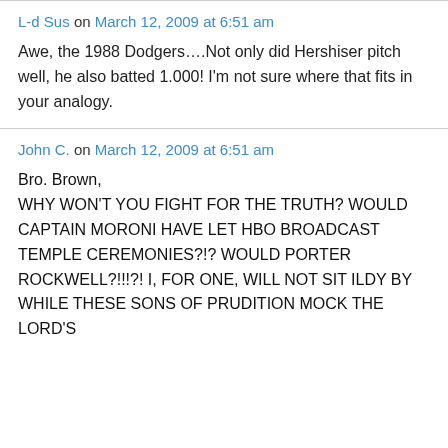L-d Sus on March 12, 2009 at 6:51 am
Awe, the 1988 Dodgers….Not only did Hershiser pitch well, he also batted 1.000! I'm not sure where that fits in your analogy.
John C. on March 12, 2009 at 6:51 am
Bro. Brown,
WHY WON'T YOU FIGHT FOR THE TRUTH? WOULD CAPTAIN MORONI HAVE LET HBO BROADCAST TEMPLE CEREMONIES?!? WOULD PORTER ROCKWELL?!!!?! I, FOR ONE, WILL NOT SIT ILDY BY WHILE THESE SONS OF PRUDITION MOCK THE LORD'S